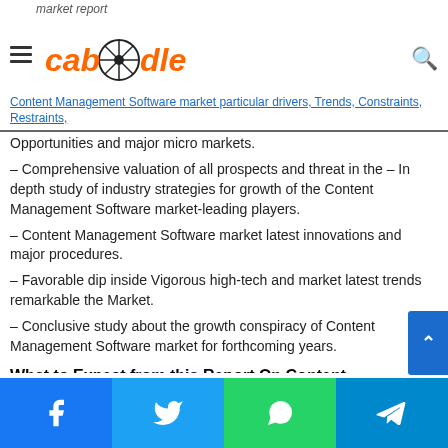market report — Caboodle — Content Management Software market particular drivers, Trends, Constraints, Restraints, Opportunities and major micro markets.
Opportunities and major micro markets.
– Comprehensive valuation of all prospects and threat in the – In depth study of industry strategies for growth of the Content Management Software market-leading players.
– Content Management Software market latest innovations and major procedures.
– Favorable dip inside Vigorous high-tech and market latest trends remarkable the Market.
– Conclusive study about the growth conspiracy of Content Management Software market for forthcoming years.
What to Expect from this Report On Content Management Software Market: